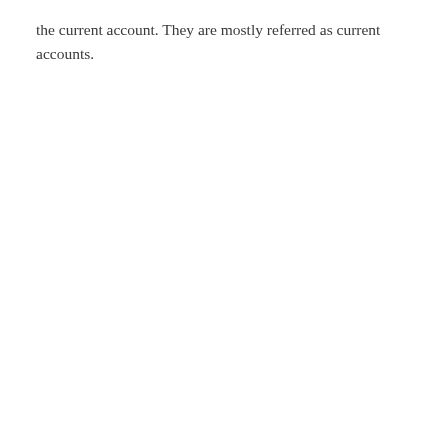the current account. They are mostly referred as current accounts.